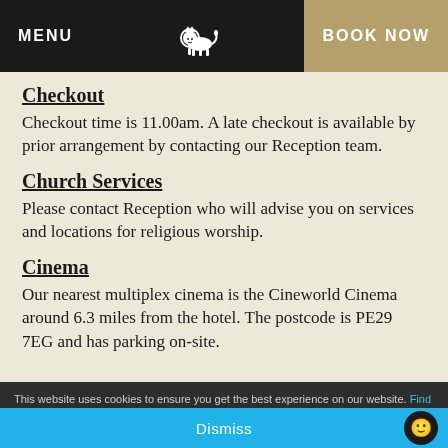MENU | BOOK NOW
Checkout
Checkout time is 11.00am. A late checkout is available by prior arrangement by contacting our Reception team.
Church Services
Please contact Reception who will advise you on services and locations for religious worship.
Cinema
Our nearest multiplex cinema is the Cineworld Cinema around 6.3 miles from the hotel. The postcode is PE29 7EG and has parking on-site.
This website uses cookies to ensure you get the best experience on our website. Find Out More | Dismiss